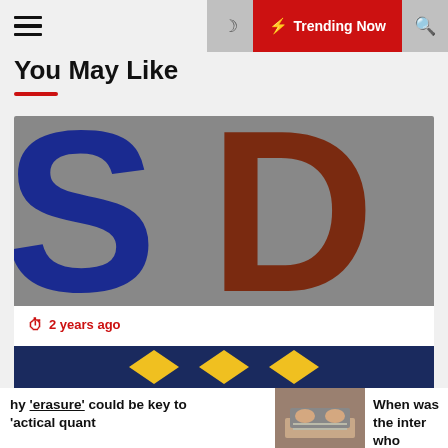Trending Now
You May Like
[Figure (logo): ScienceDaily logo: large blue 'S' and brown 'D' letters on grey background]
2 years ago
Personal interactions are important drivers of STEM identity in girls — ScienceDaily
[Figure (photo): Partial view of second article image showing yellow/blue graphic elements]
hy 'erasure' could be key to 'actical quant
[Figure (photo): Hands typing on laptop keyboard]
When was the inter who invented it?